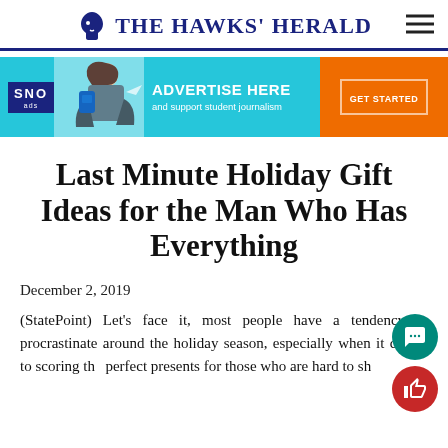THE HAWKS' HERALD
[Figure (infographic): SNO ads advertisement banner: 'ADVERTISE HERE and support student journalism' with a GET STARTED button]
Last Minute Holiday Gift Ideas for the Man Who Has Everything
December 2, 2019
(StatePoint) Let's face it, most people have a tendency to procrastinate around the holiday season, especially when it comes to scoring the perfect presents for those who are hard to sh[op for].